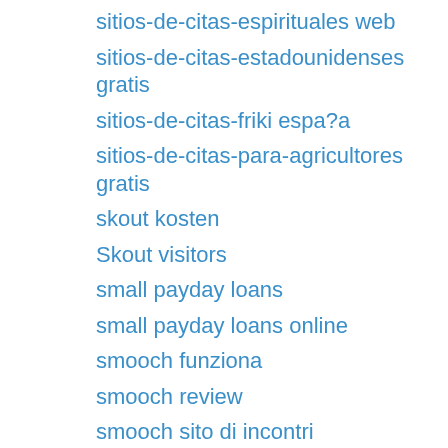sitios-de-citas-espirituales web
sitios-de-citas-estadounidenses gratis
sitios-de-citas-friki espa?a
sitios-de-citas-para-agricultores gratis
skout kosten
Skout visitors
small payday loans
small payday loans online
smooch funziona
smooch review
smooch sito di incontri
Smooch username
SMore review
SMore visitors
snapsext come funziona